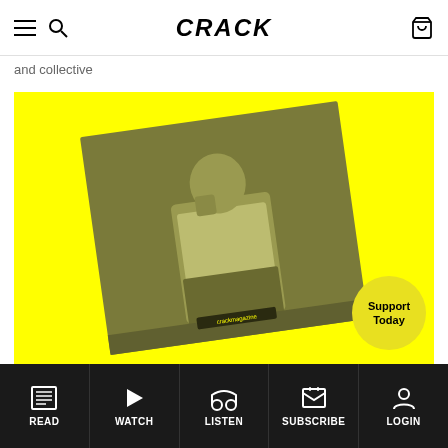CRACK
and collective
[Figure (photo): Yellow background with a tilted square album cover showing a person in a white t-shirt in an olive/yellow duotone style]
Support Today
READ | WATCH | LISTEN | SUBSCRIBE | LOGIN